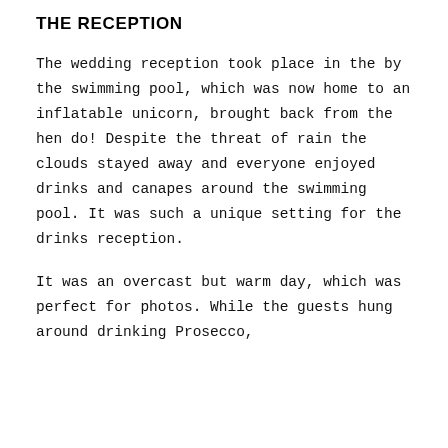THE RECEPTION
The wedding reception took place in the by the swimming pool, which was now home to an inflatable unicorn, brought back from the hen do! Despite the threat of rain the clouds stayed away and everyone enjoyed drinks and canapes around the swimming pool. It was such a unique setting for the drinks reception.
It was an overcast but warm day, which was perfect for photos. While the guests hung around drinking Prosecco,